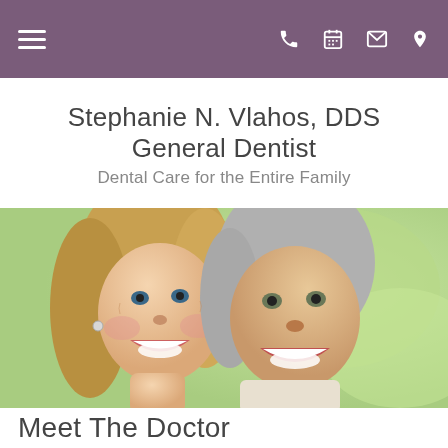Navigation bar with hamburger menu, phone, calendar, mail, and location icons
Stephanie N. Vlahos, DDS
General Dentist
Dental Care for the Entire Family
[Figure (photo): Smiling older couple showing bright white teeth, green blurred background]
Meet The Doctor